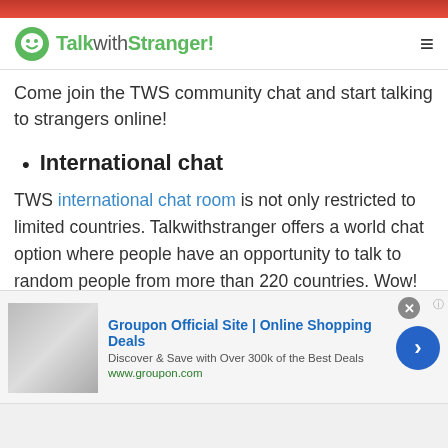[Figure (screenshot): Top red banner image (partial, cropped)]
TalkwithStranger! [hamburger menu icon]
Come join the TWS community chat and start talking to strangers online!
International chat
TWS international chat room is not only restricted to limited countries. Talkwithstranger offers a world chat option where people have an opportunity to talk to random people from more than 220 countries. Wow! Doesn't it sound amazing to have millions of strangers online to whom you can talk without going anywhere? Well, absolutely yes! Just
[Figure (screenshot): Advertisement banner: Groupon Official Site | Online Shopping Deals. Discover & Save with Over 300k of the Best Deals. www.groupon.com]